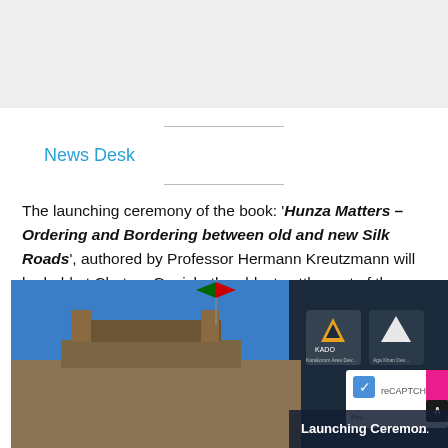News Desk
The launching ceremony of the book: 'Hunza Matters – Ordering and Bordering between old and new Silk Roads', authored by Professor Hermann Kreutzmann will be held at Chataq, Ganish, the oldest settlement of the former princely state on Thursday, July 8, 2021, at 5pm.
[Figure (photo): Photo of a book launching ceremony banner for 'Hunza Matters' featuring a mountain building scene, KADO logo, and text 'Launching Ceremon...' on a dark background]